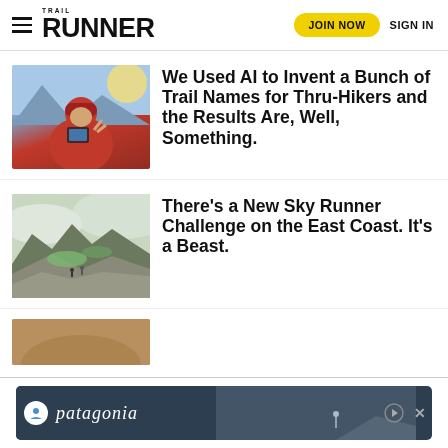Trail Runner — JOIN NOW | SIGN IN
[Figure (photo): Hiker in red jacket and beanie making a peace sign while holding a phone, mountain background with sunlight]
We Used AI to Invent a Bunch of Trail Names for Thru-Hikers and the Results Are, Well, Something.
[Figure (photo): Rocky mountain ridge with green grass and misty clouds, small figures of hikers visible]
There's a New Sky Runner Challenge on the East Coast. It's a Beast.
[Figure (photo): Partial view of a third article thumbnail (warm earthy tones)]
[Figure (photo): Patagonia advertisement banner with mountain/outdoor scene]
patagonia